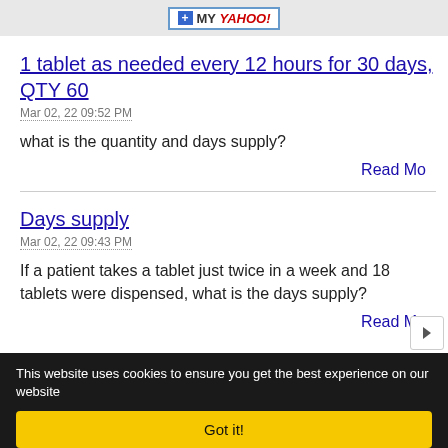[Figure (logo): My Yahoo! button with plus icon]
1 tablet as needed every 12 hours for 30 days, QTY 60
Mar 02, 22 09:52 PM
what is the quantity and days supply?
Read Mo
Days supply
Mar 02, 22 09:43 PM
If a patient takes a tablet just twice in a week and 18 tablets were dispensed, what is the days supply?
Read Mo
This website uses cookies to ensure you get the best experience on our website
Got it!